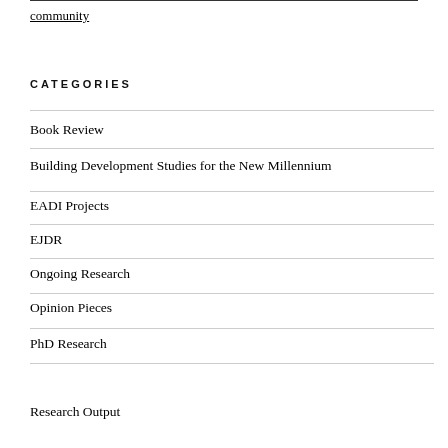community
CATEGORIES
Book Review
Building Development Studies for the New Millennium
EADI Projects
EJDR
Ongoing Research
Opinion Pieces
PhD Research
Research Output